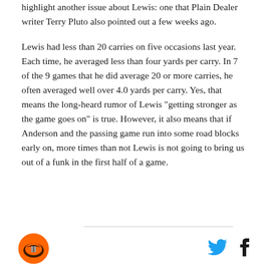highlight another issue about Lewis: one that Plain Dealer writer Terry Pluto also pointed out a few weeks ago.
Lewis had less than 20 carries on five occasions last year. Each time, he averaged less than four yards per carry. In 7 of the 9 games that he did average 20 or more carries, he often averaged well over 4.0 yards per carry. Yes, that means the long-heard rumor of Lewis "getting stronger as the game goes on" is true. However, it also means that if Anderson and the passing game run into some road blocks early on, more times than not Lewis is not going to bring us out of a funk in the first half of a game.
[Figure (logo): Cleveland Browns helmet logo in orange circle]